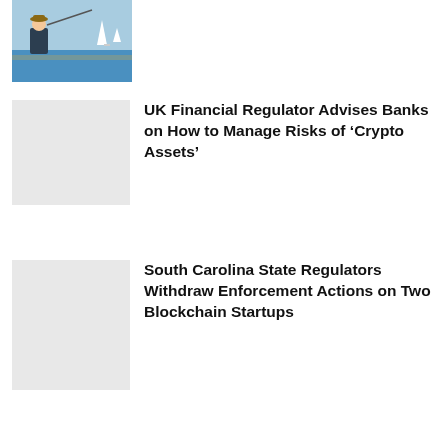[Figure (illustration): Partial view of an illustrated image showing a person fishing or sailing near water with sailboats in background]
UK Financial Regulator Advises Banks on How to Manage Risks of ‘Crypto Assets’
[Figure (photo): Gray placeholder thumbnail for UK financial regulator article]
South Carolina State Regulators Withdraw Enforcement Actions on Two Blockchain Startups
[Figure (photo): Gray placeholder thumbnail for South Carolina regulators article]
[Figure (infographic): Social media share buttons: Facebook, Twitter, Telegram, Reddit, LinkedIn, WhatsApp, Copy, Scroll-up]
co
Cointelegraph.com uses Cookies to ensure the best experience for you.
ACCEPT